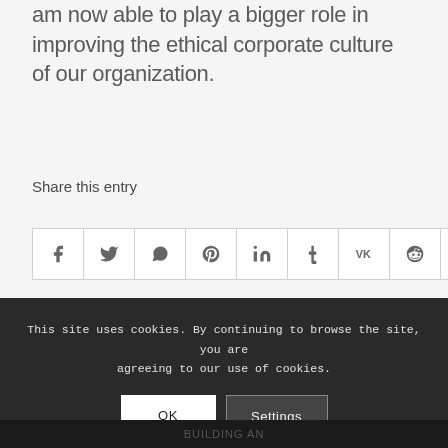am now able to play a bigger role in improving the ethical corporate culture of our organization.
Share this entry
[Figure (infographic): Row of 9 social share icon buttons: Facebook, Twitter, WhatsApp, Pinterest, LinkedIn, Tumblr, VK, Reddit, Email]
This site uses cookies. By continuing to browse the site, you are agreeing to our use of cookies.
OK   Settings